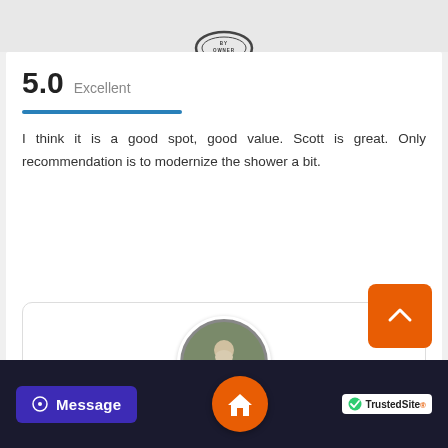[Figure (logo): Circular stamp logo with text 'BY OWNER']
5.0  Excellent
I think it is a good spot, good value. Scott is great. Only recommendation is to modernize the shower a bit.
[Figure (photo): Circular profile photo of elderly man with white beard standing outdoors]
Message
[Figure (logo): TrustedSite badge with green checkmark]